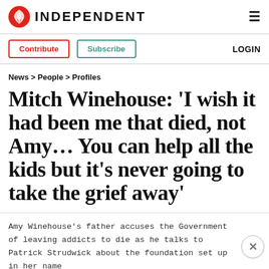INDEPENDENT
Contribute   Subscribe   LOGIN
News > People > Profiles
Mitch Winehouse: 'I wish it had been me that died, not Amy… You can help all the kids but it's never going to take the grief away'
Amy Winehouse's father accuses the Government of leaving addicts to die as he talks to Patrick Strudwick about the foundation set up in her name